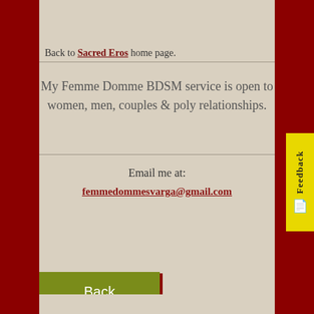[Figure (photo): Partial photo of a room/furniture visible at top of page]
Back to Sacred Eros home page.
My Femme Domme BDSM service is open to women, men, couples & poly relationships.
Email me at:
femmedommesvarga@gmail.com
Back